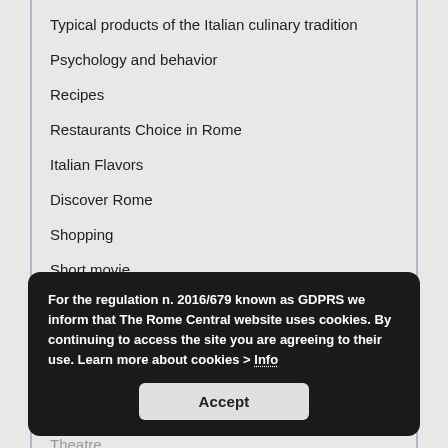Typical products of the Italian culinary tradition
Psychology and behavior
Recipes
Restaurants Choice in Rome
Italian Flavors
Discover Rome
Shopping
Short movie
Spirituality
Sport
Street Art
Sustainability
Theatre
TV
For the regulation n. 2016/679 known as GDPRS we inform that The Rome Central website uses cookies. By continuing to access the site you are agreeing to their use. Learn more about cookies > Info
Travel in Europe